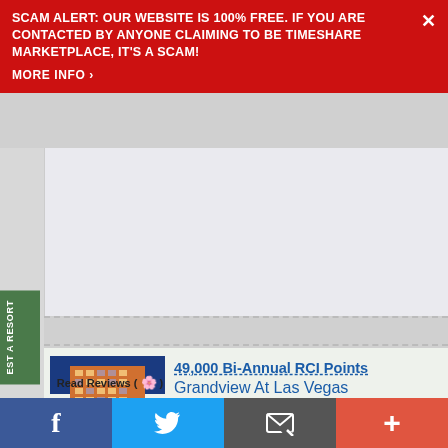SCAM ALERT: OUR WEBSITE IS 100% FREE. IF YOU ARE CONTACTED BY ANYONE CLAIMING TO BE TIMESHARE MARKETPLACE, IT'S A SCAM! MORE INFO ›
[Figure (photo): Hotel/resort building at night with palm trees and orange lighting]
Read Reviews ( )
49,000 Bi-Annual RCI Points
Grandview At Las Vegas
Las Vegas, Nevada, United States
The Grandview at Las Vegas resort is situated ac the South Point Casino and a car is suggested in enjoy the many opportunities for day tri More...
View Listing
Resort Profile